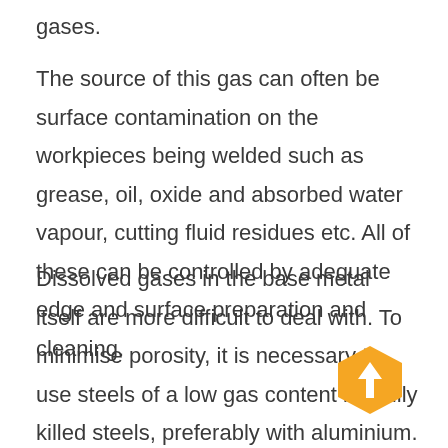gases.
The source of this gas can often be surface contamination on the workpieces being welded such as grease, oil, oxide and absorbed water vapour, cutting fluid residues etc. All of these can be controlled by adequate edge and surface preparation and cleaning.
Dissolved gases in the base metal itself are more difficult to deal with. To minimise porosity, it is necessary to use steels of a low gas content i.e. fully killed steels, preferably with aluminium. Filler wires can be used to control porosity, by adding deoxidising